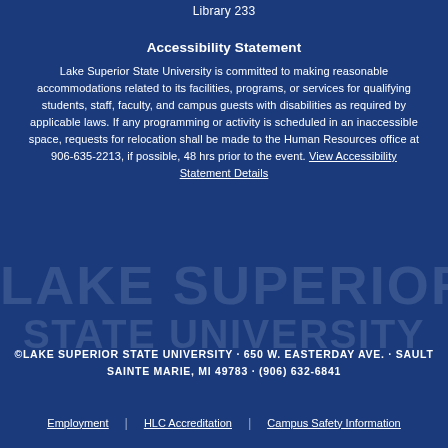Library 233
Accessibility Statement
Lake Superior State University is committed to making reasonable accommodations related to its facilities, programs, or services for qualifying students, staff, faculty, and campus guests with disabilities as required by applicable laws. If any programming or activity is scheduled in an inaccessible space, requests for relocation shall be made to the Human Resources office at 906-635-2213, if possible, 48 hrs prior to the event. View Accessibility Statement Details
[Figure (other): Watermark text 'LAKE SUPERIOR STATE UNIVERSITY' in large faded letters behind content]
©LAKE SUPERIOR STATE UNIVERSITY · 650 W. EASTERDAY AVE. · SAULT SAINTE MARIE, MI 49783 · (906) 632-6841
Employment | HLC Accreditation | Campus Safety Information